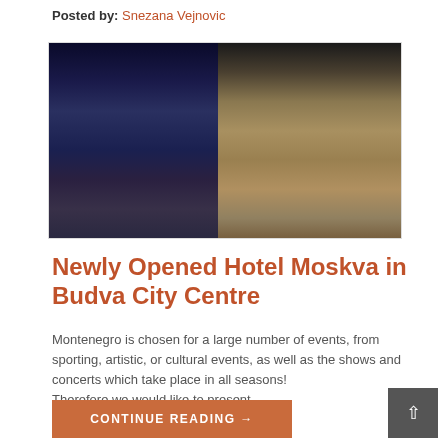Posted by: Snezana Vejnovic
[Figure (photo): Night photo of Hotel Moskva in Budva – a large illuminated hotel building with blue and white lights on the left side and a warm-lit classical facade on the right side, with mountains in the background and a street visible on the right.]
Newly Opened Hotel Moskva in Budva City Centre
Montenegro is chosen for a large number of events, from sporting, artistic, or cultural events, as well as the shows and concerts which take place in all seasons!
Therefore we would like to present ...